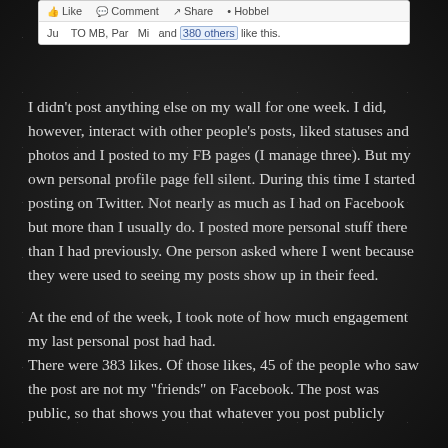[Figure (screenshot): Screenshot of a Facebook post showing action buttons (Like, Comment, Share, Hobbel) and a likes line reading 'Ju TO MB, Par Mi and 380 others like this.' with '380 others' highlighted in blue.]
I didn't post anything else on my wall for one week. I did, however, interact with other people's posts, liked statuses and photos and I posted to my FB pages (I manage three). But my own personal profile page fell silent. During this time I started posting on Twitter. Not nearly as much as I had on Facebook but more than I usually do. I posted more personal stuff there than I had previously. One person asked where I went because they were used to seeing my posts show up in their feed.
At the end of the week, I took note of how much engagement my last personal post had had.
There were 383 likes. Of those likes, 45 of the people who saw the post are not my "friends" on Facebook. The post was public, so that shows you that whatever you post publicly